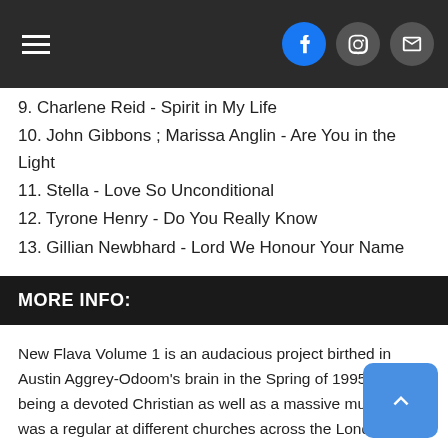Navigation header with hamburger menu and social icons (Facebook, Instagram, Email)
9. Charlene Reid - Spirit in My Life
10. John Gibbons ; Marissa Anglin - Are You in the Light
11. Stella - Love So Unconditional
12. Tyrone Henry - Do You Really Know
13. Gillian Newbhard - Lord We Honour Your Name
MORE INFO:
New Flava Volume 1 is an audacious project birthed in Austin Aggrey-Odoom's brain in the Spring of 1995. Austin, being a devoted Christian as well as a massive music fan, was a regular at different churches across the London Area during the mid-90's. He then connected with many young aspiring Gospel/Soul/R&B singers and had the idea to produce a Gospel album that could appeal to a younger crowd, mixing US R&B influences, to create a new kind of Christian R&B that could have radio potential, while showcasing U.K.'s underground Soul talents from the Gospel community. His love of God and passion for music would finally merge into this hybrid compilation project called New Flava Volume 1. With the help of producer Paul Cumberbatch, they recorded a selection of the finest voices that Austin could find amongst